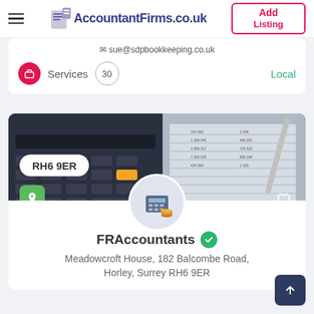AccountantFirms.co.uk — Add Listing
sue@sdpbookkeeping.co.uk
Services 30 Local
[Figure (photo): Photo of a calculator and financial spreadsheet with postcode badge RH6 9ER, location pin icon, and heart icon overlay]
FRAccountants
Meadowcroft House, 182 Balcombe Road, Horley, Surrey RH6 9ER